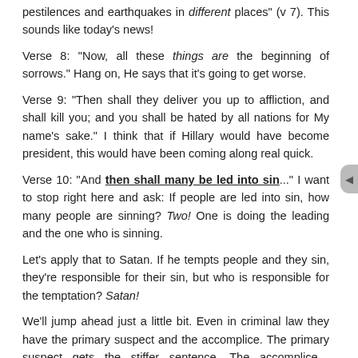pestilences and earthquakes in different places" (v 7). This sounds like today's news!
Verse 8: "Now, all these things are the beginning of sorrows." Hang on, He says that it's going to get worse.
Verse 9: "Then shall they deliver you up to affliction, and shall kill you; and you shall be hated by all nations for My name's sake." I think that if Hillary would have become president, this would have been coming along real quick.
Verse 10: "And then shall many be led into sin..." I want to stop right here and ask: If people are led into sin, how many people are sinning? Two! One is doing the leading and the one who is sinning.
Let's apply that to Satan. If he tempts people and they sin, they're responsible for their sin, but who is responsible for the temptation? Satan!
We'll jump ahead just a little bit. Even in criminal law they have the primary suspect and the accomplice. The primary suspect gets the stiffer sentence. The accomplice—depending on their attitude—gets a lesser sentence, probation or allowed to go free, provided that they don't get in trouble.
Let's go back to the days of Abraham (Gen. 19). God and the two